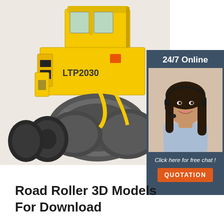[Figure (photo): Yellow road roller / pneumatic tire roller with label LTP2030, photographed on a white/light background. The machine has a yellow body, large rear pneumatic tires, and a front drum/roller section.]
[Figure (photo): Sidebar advertisement panel with dark blue/slate background. Shows '24/7 Online' heading, a photo of a smiling woman with a telephone headset, text 'Click here for free chat!' and an orange button labeled 'QUOTATION'.]
Road Roller 3D Models For Download